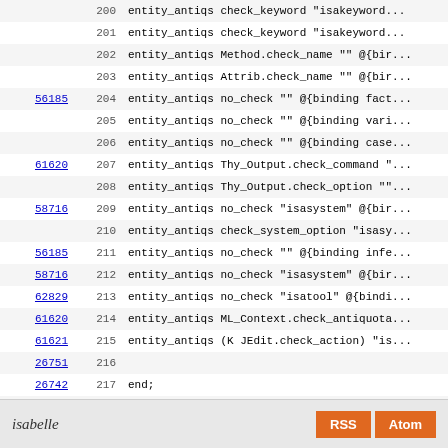| link | line | code |
| --- | --- | --- |
|  | 200 | entity_antiqs check_keyword "isakeyword... |
|  | 201 | entity_antiqs check_keyword "isakeyword... |
|  | 202 | entity_antiqs Method.check_name "" @{bir... |
|  | 203 | entity_antiqs Attrib.check_name "" @{bir... |
| 56185 | 204 | entity_antiqs no_check "" @{binding fact... |
|  | 205 | entity_antiqs no_check "" @{binding vari... |
|  | 206 | entity_antiqs no_check "" @{binding case... |
| 61620 | 207 | entity_antiqs Thy_Output.check_command "... |
|  | 208 | entity_antiqs Thy_Output.check_option ""... |
| 58716 | 209 | entity_antiqs no_check "isasystem" @{bir... |
|  | 210 | entity_antiqs check_system_option "isasy... |
| 56185 | 211 | entity_antiqs no_check "" @{binding infe... |
| 58716 | 212 | entity_antiqs no_check "isasystem" @{bir... |
| 62829 | 213 | entity_antiqs no_check "isatool" @{bindi... |
| 61620 | 214 | entity_antiqs ML_Context.check_antiquota... |
| 61621 | 215 | entity_antiqs (K JEdit.check_action) "is... |
| 26751 | 216 |  |
| 26742 | 217 | end; |
| 26751 | 218 |  |
|  | 219 | end; |
isabelle  RSS  Atom